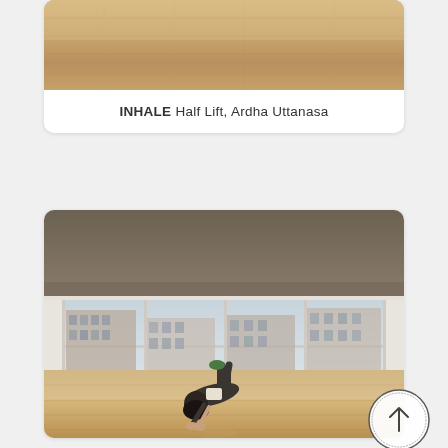[Figure (photo): Partial view of a yoga studio with wooden floor, showing bottom portion of a previous pose card]
INHALE Half Lift, Ardha Uttanasa
[Figure (photo): Yoga studio with large floor-to-ceiling windows overlooking city buildings. A person is in a forward bend yoga pose (Uttanasana) on a reflective wooden floor.]